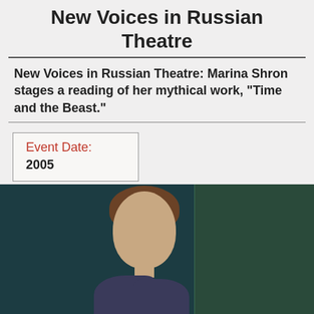New Voices in Russian Theatre
New Voices in Russian Theatre: Marina Shron stages a reading of her mythical work, "Time and the Beast."
| Event Date: |  |
| --- | --- |
| 2005 |  |
[Figure (photo): Portrait photograph of a woman with curly brown hair against a dark teal background with a lighter panel on the right side.]